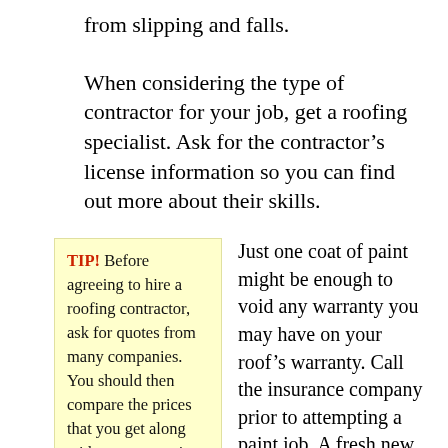from slipping and falls.
When considering the type of contractor for your job, get a roofing specialist. Ask for the contractor's license information so you can find out more about their skills.
TIP! Before agreeing to hire a roofing contractor, ask for quotes from many companies. You should then compare the prices that you get along with any warranties or
Just one coat of paint might be enough to void any warranty you may have on your roof's warranty. Call the insurance company prior to attempting a paint job. A fresh new roof with a voided warranty is much if it's unprotected.